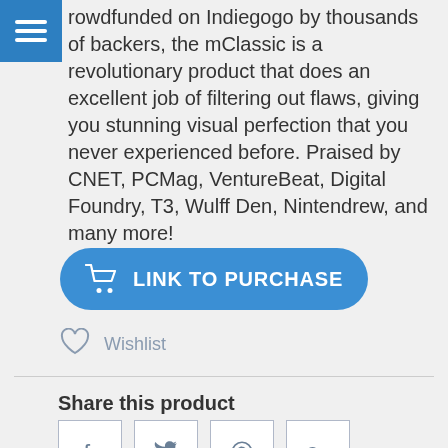rowdfunded on Indiegogo by thousands of backers, the mClassic is a revolutionary product that does an excellent job of filtering out flaws, giving you stunning visual perfection that you never experienced before. Praised by CNET, PCMag, VentureBeat, Digital Foundry, T3, Wulff Den, Nintendrew, and many more!
LINK TO PURCHASE
Wishlist
Share this product